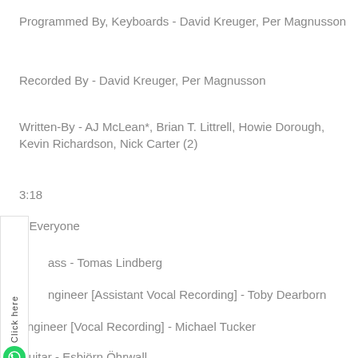Programmed By, Keyboards - David Kreuger, Per Magnusson
Recorded By - David Kreuger, Per Magnusson
Written-By - AJ McLean*, Brian T. Littrell, Howie Dorough, Kevin Richardson, Nick Carter (2)
3:18
7 Everyone
ass - Tomas Lindberg
ngineer [Assistant Vocal Recording] - Toby Dearborn
Engineer [Vocal Recording] - Michael Tucker
Guitar - Esbjörn Öhrwall
Producer - Kristian Lundin